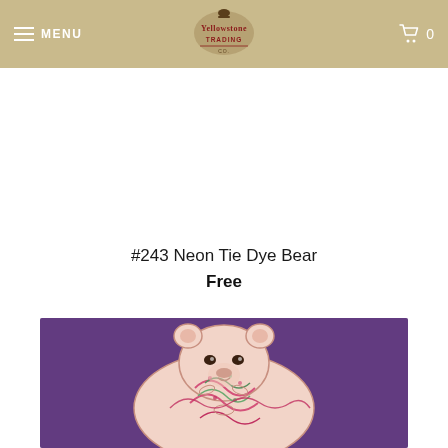MENU  [Yellowstone Trading logo]  0
#243 Neon Tie Dye Bear
Free
[Figure (photo): A decorative painted bear figurine with colorful neon tie-dye pattern on a purple background. The bear has intricate swirling designs in pink, green, and cream colors.]